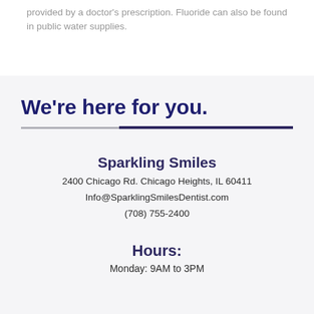provided by a doctor's prescription. Fluoride can also be found in public water supplies.
We’re here for you.
Sparkling Smiles
2400 Chicago Rd. Chicago Heights, IL 60411
Info@SparklingSmilesDentist.com
(708) 755-2400
Hours:
Monday: 9AM to 3PM